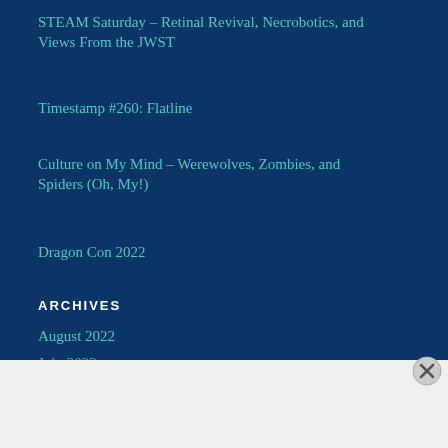STEAM Saturday – Retinal Revival, Necrobotics, and Views From the JWST
Timestamp #260: Flatline
Culture on My Mind – Werewolves, Zombies, and Spiders (Oh, My!)
Dragon Con 2022
ARCHIVES
August 2022
July 2022
Advertisements